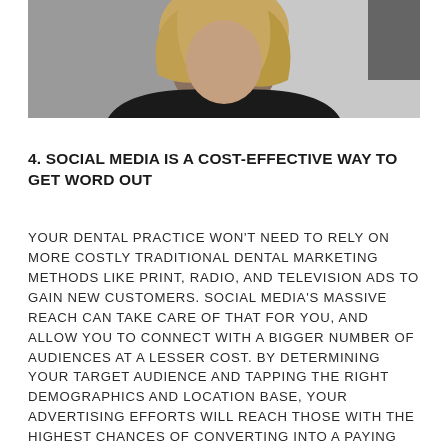[Figure (photo): A person with blonde hair wearing a dark/black top, photographed from the shoulders up against a light background.]
4. SOCIAL MEDIA IS A COST-EFFECTIVE WAY TO GET WORD OUT
YOUR DENTAL PRACTICE WON'T NEED TO RELY ON MORE COSTLY TRADITIONAL DENTAL MARKETING METHODS LIKE PRINT, RADIO, AND TELEVISION ADS TO GAIN NEW CUSTOMERS. SOCIAL MEDIA'S MASSIVE REACH CAN TAKE CARE OF THAT FOR YOU, AND ALLOW YOU TO CONNECT WITH A BIGGER NUMBER OF AUDIENCES AT A LESSER COST. BY DETERMINING YOUR TARGET AUDIENCE AND TAPPING THE RIGHT DEMOGRAPHICS AND LOCATION BASE, YOUR ADVERTISING EFFORTS WILL REACH THOSE WITH THE HIGHEST CHANCES OF CONVERTING INTO A PAYING CUSTOMER.